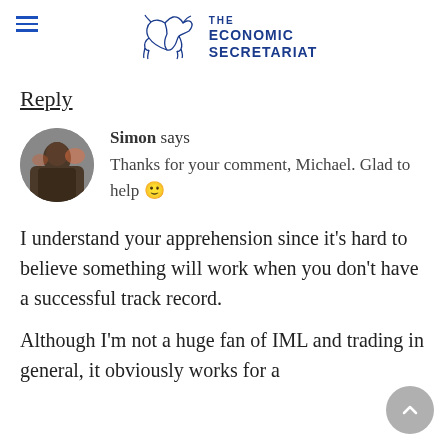THE ECONOMIC SECRETARIAT
Reply
Simon says
Thanks for your comment, Michael. Glad to help 🙂
I understand your apprehension since it's hard to believe something will work when you don't have a successful track record.
Although I'm not a huge fan of IML and trading in general, it obviously works for a